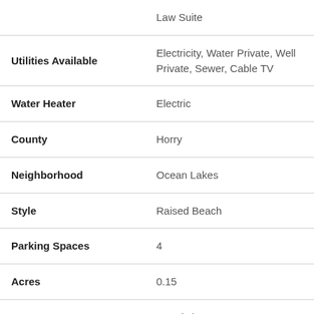| Field | Value |
| --- | --- |
|  | Law Suite |
| Utilities Available | Electricity, Water Private, Well Private, Sewer, Cable TV |
| Water Heater | Electric |
| County | Horry |
| Neighborhood | Ocean Lakes |
| Style | Raised Beach |
| Parking Spaces | 4 |
| Acres | 0.15 |
| Amenities | Restrictions, Clubhouse/Rec/Facilities, Pool - |